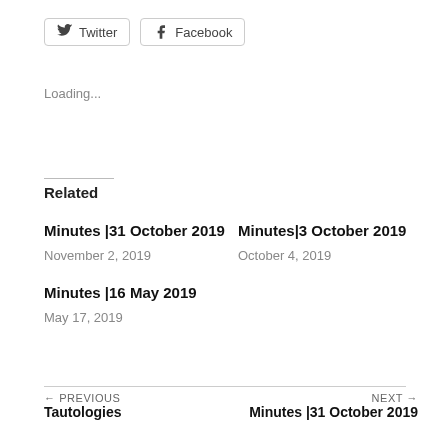[Figure (other): Twitter and Facebook social share buttons]
Loading...
Related
Minutes |31 October 2019
November 2, 2019
Minutes|3 October 2019
October 4, 2019
Minutes |16 May 2019
May 17, 2019
← PREVIOUS Tautologies   NEXT → Minutes |31 October 2019